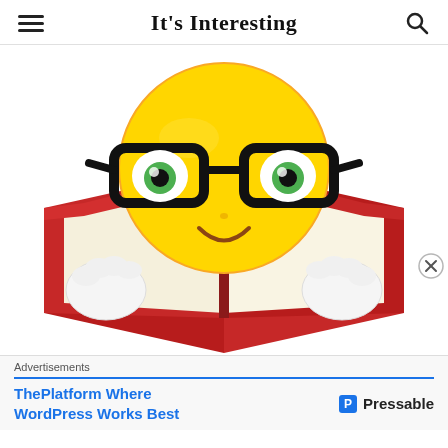It's Interesting
[Figure (illustration): A yellow smiley face emoji wearing black glasses and holding an open red book, reading it with a smile.]
Advertisements
ThePlatform Where WordPress Works Best   Pressable